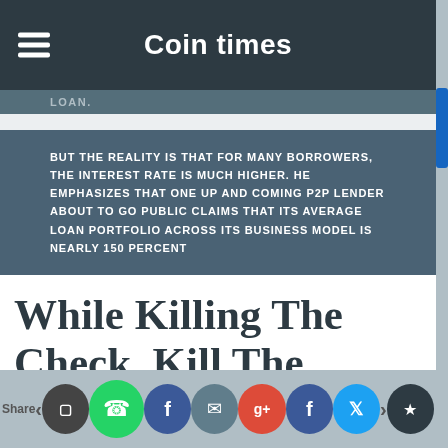Coin times
LOAN.
BUT THE REALITY IS THAT FOR MANY BORROWERS, THE INTEREST RATE IS MUCH HIGHER. HE EMPHASIZES THAT ONE UP AND COMING P2P LENDER ABOUT TO GO PUBLIC CLAIMS THAT ITS AVERAGE LOAN PORTFOLIO ACROSS ITS BUSINESS MODEL IS NEARLY 150 PERCENT
While Killing The Check, Kill The (Airline) Voucher, Too (PYMNTS), Rated: A